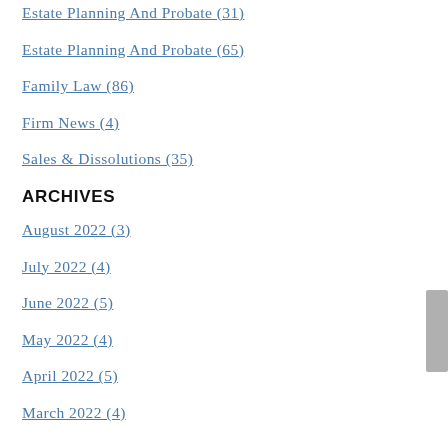Estate Planning And Probate (31)
Estate Planning And Probate (65)
Family Law (86)
Firm News (4)
Sales & Dissolutions (35)
ARCHIVES
August 2022 (3)
July 2022 (4)
June 2022 (5)
May 2022 (4)
April 2022 (5)
March 2022 (4)